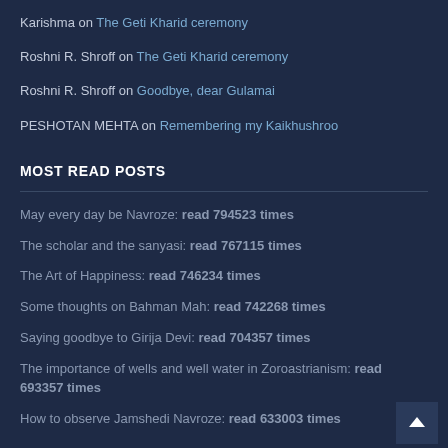Karishma on The Geti Kharid ceremony
Roshni R. Shroff on The Geti Kharid ceremony
Roshni R. Shroff on Goodbye, dear Gulamai
PESHOTAN MEHTA on Remembering my Kaikhushroo
MOST READ POSTS
May every day be Navroze: read 794523 times
The scholar and the sanyasi: read 767115 times
The Art of Happiness: read 746234 times
Some thoughts on Bahman Mah: read 742268 times
Saying goodbye to Girija Devi: read 704357 times
The importance of wells and well water in Zoroastrianism: read 693357 times
How to observe Jamshedi Navroze: read 633003 times